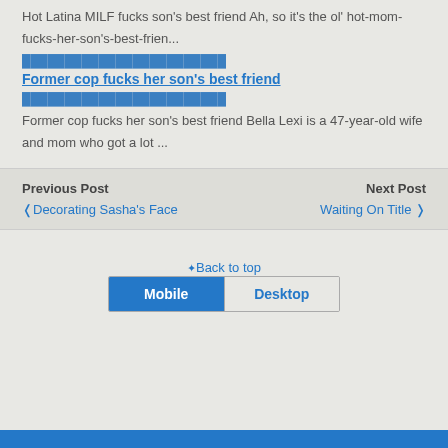Hot Latina MILF fucks son's best friend Ah, so it's the ol' hot-mom-fucks-her-son's-best-frien...
Former cop fucks her son's best friend
Former cop fucks her son's best friend Bella Lexi is a 47-year-old wife and mom who got a lot ...
Previous Post ❮ Decorating Sasha's Face
Next Post Waiting On Title ❯
⇪ Back to top
Mobile | Desktop